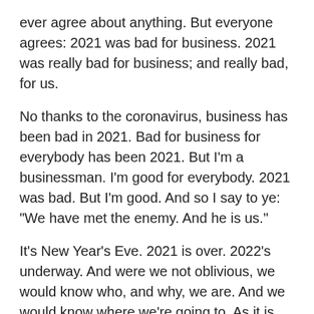ever agree about anything. But everyone agrees: 2021 was bad for business. 2021 was really bad for business; and really bad, for us.
No thanks to the coronavirus, business has been bad in 2021. Bad for business for everybody has been 2021. But I'm a businessman. I'm good for everybody. 2021 was bad. But I'm good. And so I say to ye: "We have met the enemy. And he is us."
It's New Year's Eve. 2021 is over. 2022's underway. And were we not oblivious, we would know who, and why, we are. And we would know where we're going to. As it is, we're near oblivious to practically everything in the universe that's surrounding us.
If we were not so oblivious, we would know who and why